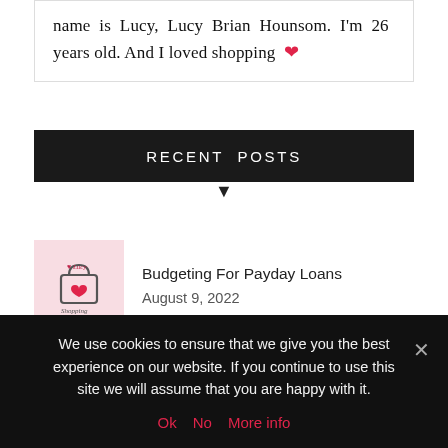name is Lucy, Lucy Brian Hounsom. I'm 26 years old. And I loved shopping ❤
RECENT POSTS
Budgeting For Payday Loans
August 9, 2022
What Are Pneumatic Casters? Everything You Need to Know
June 10, 2022
We use cookies to ensure that we give you the best experience on our website. If you continue to use this site we will assume that you are happy with it.
Ok  No  More info